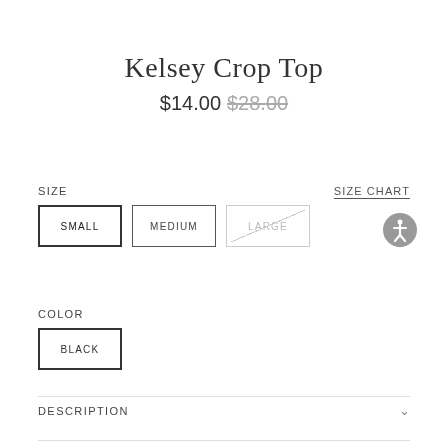Kelsey Crop Top
$14.00 $28.00
SIZE
SIZE CHART
SMALL
MEDIUM
LARGE
COLOR
BLACK
DESCRIPTION